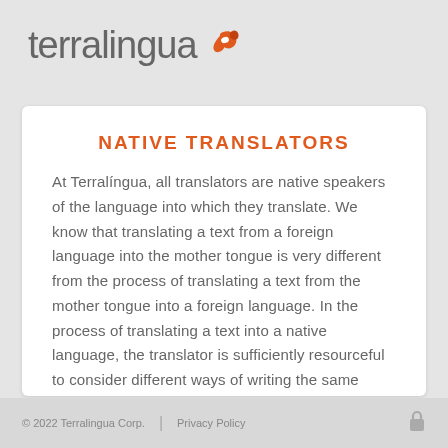[Figure (logo): Terralingua logo with stylized orange swirl icon next to grey text 'terralingua']
NATIVE TRANSLATORS
At Terralingua, all translators are native speakers of the language into which they translate. We know that translating a text from a foreign language into the mother tongue is very different from the process of translating a text from the mother tongue into a foreign language. In the process of translating a text into a native language, the translator is sufficiently resourceful to consider different ways of writing the same sentence. The most appropriate option can
© 2022 Terralingua Corp.    Privacy Policy